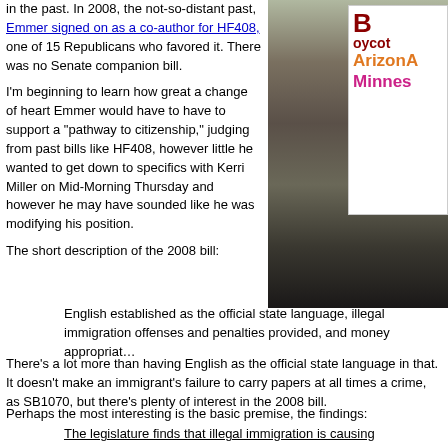in the past. In 2008, the not-so-distant past, Emmer signed on as a co-author for HF408, one of 15 Republicans who favored it. There was no Senate companion bill.
I'm beginning to learn how great a change of heart Emmer would have to have to support a "pathway to citizenship," judging from past bills like HF408, however little he wanted to get down to specifics with Kerri Miller on Mid-Morning Thursday and however he may have sounded like he was modifying his position.
[Figure (photo): Protesters holding a sign reading 'Boycott Arizona Minnesota']
The short description of the 2008 bill:
English established as the official state language, illegal immigration offenses and penalties provided, and money appropriat…
There's a lot more than having English as the official state language in that. It doesn't make an immigrant's failure to carry papers at all times a crime, as SB1070, but there's plenty of interest in the 2008 bill.
Perhaps the most interesting is the basic premise, the findings:
The legislature finds that illegal immigration is causing 2.26 economic hardship and lawlessness in this state and that illegal immigration is encouraged 2.27 by public agencies in the state that provide public benefits witho…